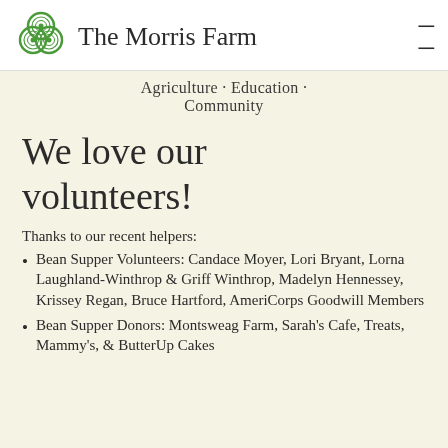The Morris Farm
Agriculture · Education · Community
We love our volunteers!
Thanks to our recent helpers:
Bean Supper Volunteers: Candace Moyer, Lori Bryant, Lorna Laughland-Winthrop & Griff Winthrop, Madelyn Hennessey, Krissey Regan, Bruce Hartford, AmeriCorps Goodwill Members
Bean Supper Donors: Montsweag Farm, Sarah's Cafe, Treats, Mammy's, & ButterUp Cakes